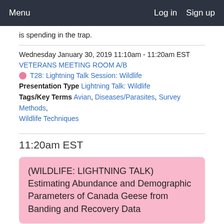Menu | Log in  Sign up
is spending in the trap.
Wednesday January 30, 2019 11:10am - 11:20am EST
VETERANS MEETING ROOM A/B
T28: Lightning Talk Session: Wildlife
Presentation Type Lightning Talk: Wildlife
Tags/Key Terms Avian, Diseases/Parasites, Survey Methods, Wildlife Techniques
11:20am EST
(WILDLIFE: LIGHTNING TALK) Estimating Abundance and Demographic Parameters of Canada Geese from Banding and Recovery Data
AUTHORS: Tim Lyons, Larkin Powell – University of